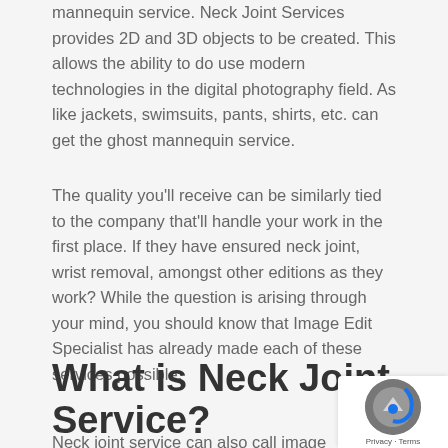mannequin service. Neck Joint Services provides 2D and 3D objects to be created. This allows the ability to do use modern technologies in the digital photography field. As like jackets, swimsuits, pants, shirts, etc. can get the ghost mannequin service.
The quality you'll receive can be similarly tied to the company that'll handle your work in the first place. If they have ensured neck joint, wrist removal, amongst other editions as they work? While the question is arising through your mind, you should know that Image Edit Specialist has already made each of these services possible.
What is Neck Joint Service?
Neck joint service can also call image